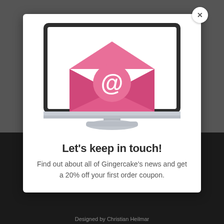[Figure (illustration): A desktop computer monitor (iMac-style, silver/black) displaying a pink open envelope with an @ symbol on it, representing email newsletter signup.]
Let's keep in touch!
Find out about all of Gingercake's news and get a 20% off your first order coupon.
Designed by Christian Heilmar